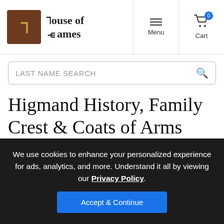House of Names — Menu | Cart
LAST NAME SEARCH
Higmand History, Family Crest & Coats of Arms
Origins Available: England  Ireland
We use cookies to enhance your personalized experience for ads, analytics, and more. Understand it all by viewing our Privacy Policy. Accept & Continue